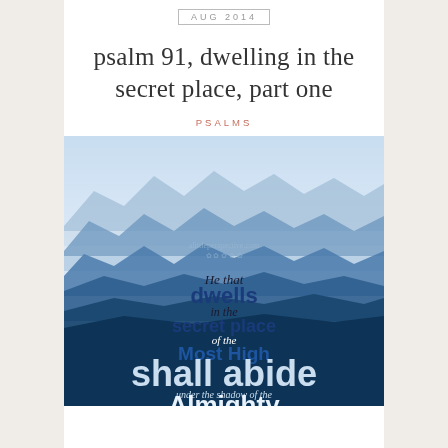AUG 2014
psalm 91, dwelling in the secret place, part one
PSALMS
[Figure (illustration): Mountain landscape with layered blue misty mountains with scripture text overlay: 'He that dwells in the secret place of the Most High shall abide under the shadow of the Almighty' with watermark alittleperspective.com]